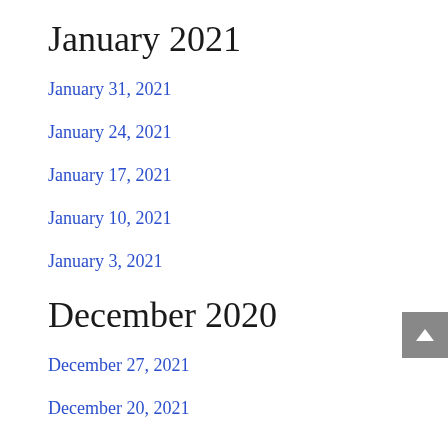January 2021
January 31, 2021
January 24, 2021
January 17, 2021
January 10, 2021
January 3, 2021
December 2020
December 27, 2021
December 20, 2021